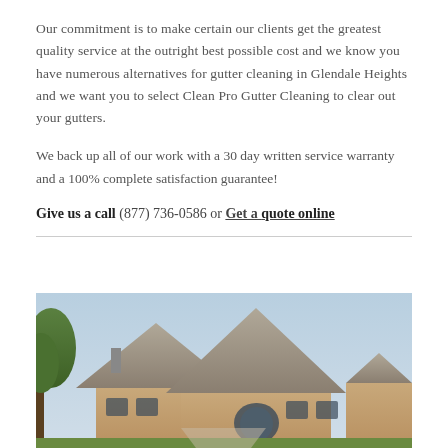Our commitment is to make certain our clients get the greatest quality service at the outright best possible cost and we know you have numerous alternatives for gutter cleaning in Glendale Heights and we want you to select Clean Pro Gutter Cleaning to clear out your gutters.
We back up all of our work with a 30 day written service warranty and a 100% complete satisfaction guarantee!
Give us a call (877) 736-0586 or Get a quote online
[Figure (photo): Exterior photo of a large brick house with multiple gabled rooflines, green trees on the left, and a light blue sky background.]